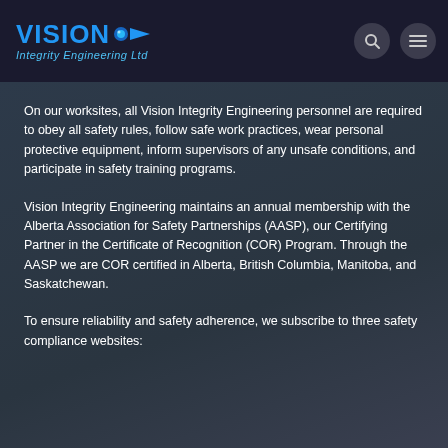[Figure (logo): Vision Integrity Engineering Ltd logo with blue text and arrow icon]
On our worksites, all Vision Integrity Engineering personnel are required to obey all safety rules, follow safe work practices, wear personal protective equipment, inform supervisors of any unsafe conditions, and participate in safety training programs.
Vision Integrity Engineering maintains an annual membership with the Alberta Association for Safety Partnerships (AASP), our Certifying Partner in the Certificate of Recognition (COR) Program. Through the AASP we are COR certified in Alberta, British Columbia, Manitoba, and Saskatchewan.
To ensure reliability and safety adherence, we subscribe to three safety compliance websites: